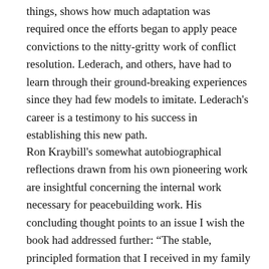things, shows how much adaptation was required once the efforts began to apply peace convictions to the nitty-gritty work of conflict resolution. Lederach, and others, have had to learn through their ground-breaking experiences since they had few models to imitate. Lederach's career is a testimony to his success in establishing this new path.
Ron Kraybill's somewhat autobiographical reflections drawn from his own pioneering work are insightful concerning the internal work necessary for peacebuilding work. His concluding thought points to an issue I wish the book had addressed further: “The stable, principled formation that I received in my family and Mennonite community gave me the inner